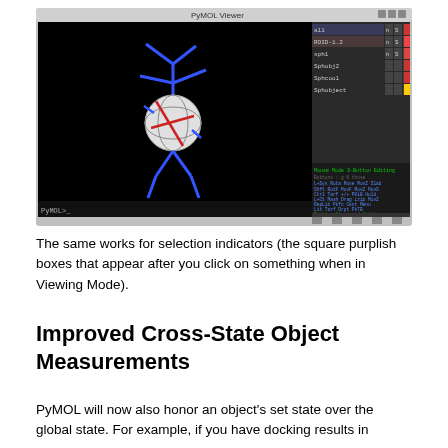[Figure (screenshot): PyMOL Viewer application window showing a 3D molecular structure on a black background — a ball-like molecule with blue stick-figure arms and legs and red lines, rendered on a dark canvas. The right panel shows a list of molecular objects with colored buttons.]
The same works for selection indicators (the square purplish boxes that appear after you click on something when in Viewing Mode).
Improved Cross-State Object Measurements
PyMOL will now also honor an object's set state over the global state. For example, if you have docking results in